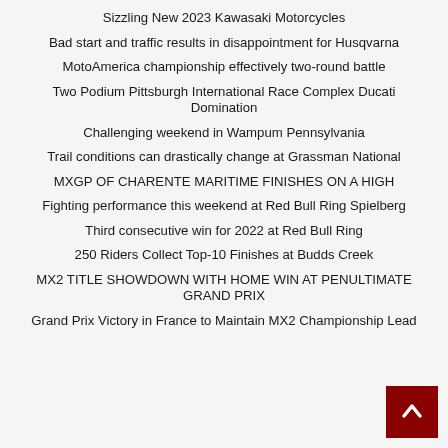Sizzling New 2023 Kawasaki Motorcycles
Bad start and traffic results in disappointment for Husqvarna
MotoAmerica championship effectively two-round battle
Two Podium Pittsburgh International Race Complex Ducati Domination
Challenging weekend in Wampum Pennsylvania
Trail conditions can drastically change at Grassman National
MXGP OF CHARENTE MARITIME FINISHES ON A HIGH
Fighting performance this weekend at Red Bull Ring Spielberg
Third consecutive win for 2022 at Red Bull Ring
250 Riders Collect Top-10 Finishes at Budds Creek
MX2 TITLE SHOWDOWN WITH HOME WIN AT PENULTIMATE GRAND PRIX
Grand Prix Victory in France to Maintain MX2 Championship Lead